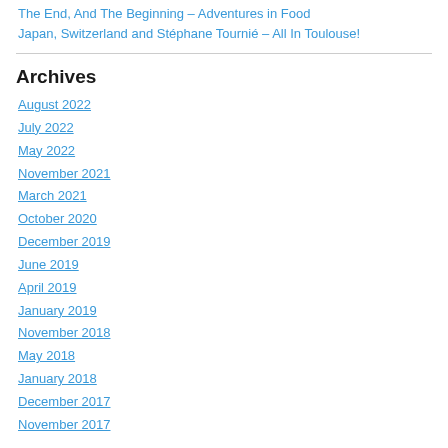The End, And The Beginning – Adventures in Food
Japan, Switzerland and Stéphane Tournié – All In Toulouse!
Archives
August 2022
July 2022
May 2022
November 2021
March 2021
October 2020
December 2019
June 2019
April 2019
January 2019
November 2018
May 2018
January 2018
December 2017
November 2017